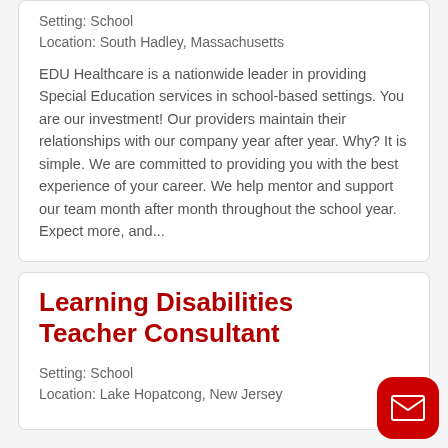Setting: School
Location: South Hadley, Massachusetts
EDU Healthcare is a nationwide leader in providing Special Education services in school-based settings. You are our investment! Our providers maintain their relationships with our company year after year. Why? It is simple. We are committed to providing you with the best experience of your career. We help mentor and support our team month after month throughout the school year. Expect more, and...
Learning Disabilities Teacher Consultant
Setting: School
Location: Lake Hopatcong, New Jersey